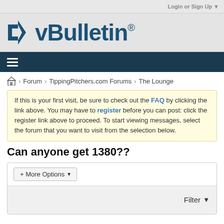Login or Sign Up ▼
[Figure (logo): vBulletin logo with registered trademark symbol]
≡ (hamburger menu)
🏠 > Forum > TippingPitchers.com Forums > The Lounge
If this is your first visit, be sure to check out the FAQ by clicking the link above. You may have to register before you can post: click the register link above to proceed. To start viewing messages, select the forum that you want to visit from the selection below.
Can anyone get 1380??
+ More Options ▾
Filter ▼